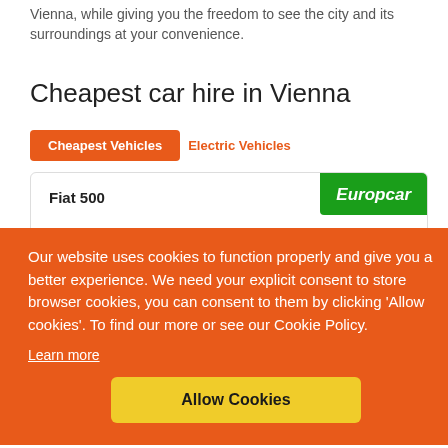Vienna, while giving you the freedom to see the city and its surroundings at your convenience.
Cheapest car hire in Vienna
Cheapest Vehicles | Electric Vehicles
Fiat 500 | Europcar
Our website uses cookies to function properly and give you a better experience. We need your explicit consent to store browser cookies, you can consent to them by clicking ‘Allow cookies’. To find our more or see our Cookie Policy.
Learn more
Allow Cookies